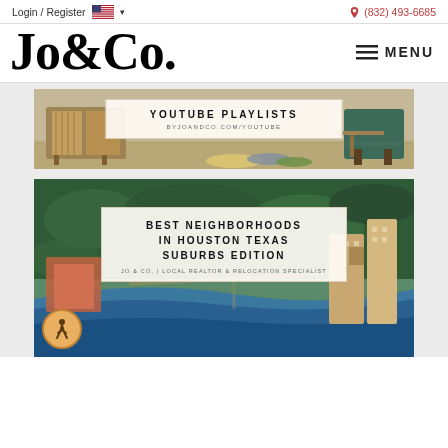Login / Register   🇺🇸 ▾          📞 (832) 493-6685
Jo&Co.
≡ MENU
[Figure (photo): Interior room with wooden furniture and pillows on floor, with overlay text box reading 'YOUTUBE PLAYLISTS byjoandco.com/youtube']
[Figure (photo): Aerial photo of Houston Texas waterfront suburbs with buildings and greenery, with overlay text box reading 'BEST NEIGHBORHOODS IN HOUSTON TEXAS SUBURBS EDITION - JO & CO. | LOCAL REALTOR & RELOCATION SPECIALIST']